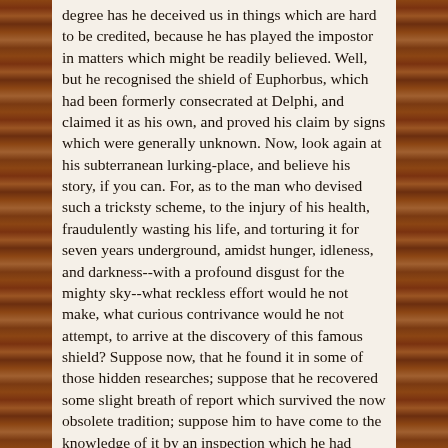degree has he deceived us in things which are hard to be credited, because he has played the impostor in matters which might be readily believed. Well, but he recognised the shield of Euphorbus, which had been formerly consecrated at Delphi, and claimed it as his own, and proved his claim by signs which were generally unknown. Now, look again at his subterranean lurking-place, and believe his story, if you can. For, as to the man who devised such a tricksty scheme, to the injury of his health, fraudulently wasting his life, and torturing it for seven years underground, amidst hunger, idleness, and darkness--with a profound disgust for the mighty sky--what reckless effort would he not make, what curious contrivance would he not attempt, to arrive at the discovery of this famous shield? Suppose now, that he found it in some of those hidden researches; suppose that he recovered some slight breath of report which survived the now obsolete tradition; suppose him to have come to the knowledge of it by an inspection which he had bribed the beadle to let him have,--we know very well what are the resources of magic skill for exploring hidden secrets: there are the catabolic spirits, which floor their victims; and the paredral spirits, which are ever at their side to haunt them; and the pythonic spirits, which entrance them by their